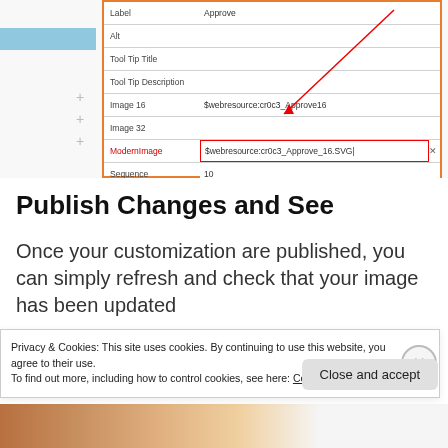[Figure (screenshot): Screenshot of a form/property panel with fields: Label (Approve), Alt, Tool Tip Title, Tool Tip Description, Image 16 ($webresource:cr0c3_Approve16), Image 32, ModernImage ($webresource:cr0c3_Approve_16.SVG) highlighted in red box with red arrow, Sequence (10), CommandCore (cr0c3.account.Command0.approve), CommandValueId, TemplateAlias (c1). Orange border around the panel.]
Publish Changes and See
Once your customization are published, you can simply refresh and check that your image has been updated
Privacy & Cookies: This site uses cookies. By continuing to use this website, you agree to their use.
To find out more, including how to control cookies, see here: Cookie Policy
Close and accept